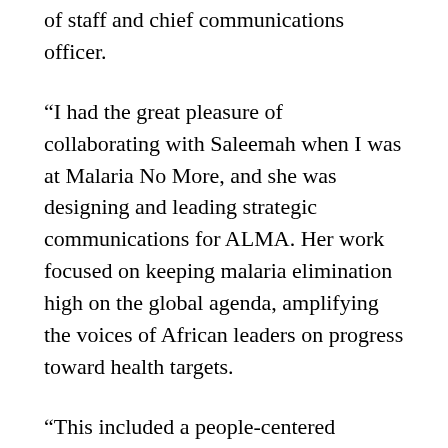of staff and chief communications officer.
“I had the great pleasure of collaborating with Saleemah when I was at Malaria No More, and she was designing and leading strategic communications for ALMA. Her work focused on keeping malaria elimination high on the global agenda, amplifying the voices of African leaders on progress toward health targets.
“This included a people-centered approach to telling stories, resulting in extensive coverage in print and digital media across six continents.
“Additionally, Saleemah played a key role as Director for the United Nations Secretary-General’s Special